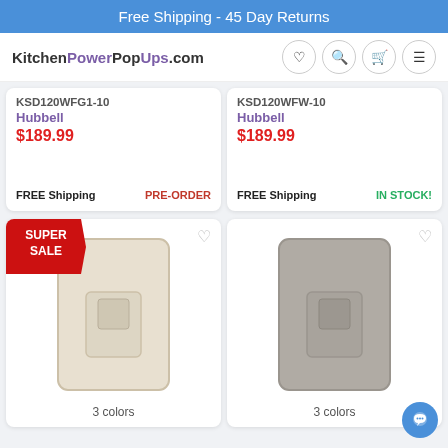Free Shipping - 45 Day Returns
KitchenPowerPopUps.com
KSD120WFG1-10
Hubbell
$189.99
FREE Shipping  PRE-ORDER
KSD120WFW-10
Hubbell
$189.99
FREE Shipping  IN STOCK!
[Figure (photo): Wall outlet switch plate in cream/almond color with SUPER SALE badge. 3 colors available.]
[Figure (photo): Wall outlet switch plate in gray color. 3 colors available.]